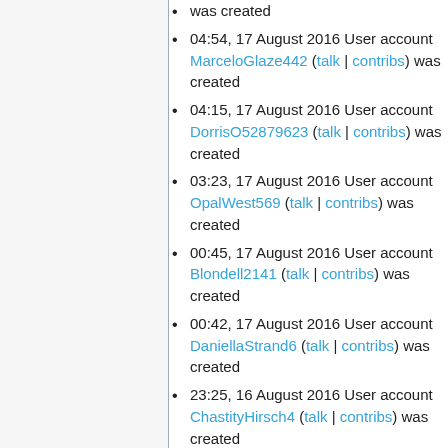was created
04:54, 17 August 2016 User account MarceloGlaze442 (talk | contribs) was created
04:15, 17 August 2016 User account DorrisO52879623 (talk | contribs) was created
03:23, 17 August 2016 User account OpalWest569 (talk | contribs) was created
00:45, 17 August 2016 User account Blondell2141 (talk | contribs) was created
00:42, 17 August 2016 User account DaniellaStrand6 (talk | contribs) was created
23:25, 16 August 2016 User account ChastityHirsch4 (talk | contribs) was created
22:46, 16 August 2016 User account